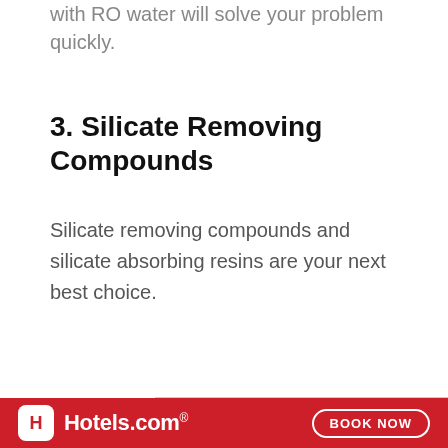with RO water will solve your problem quickly.
3. Silicate Removing Compounds
Silicate removing compounds and silicate absorbing resins are your next best choice.
[Figure (other): Hotels.com advertisement banner with red background, Hotels.com logo on the left, and a 'BOOK NOW' button on the right.]